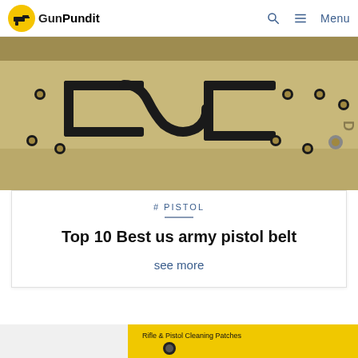GunPundit — Menu
[Figure (photo): Close-up photo of a tan/khaki military pistol belt with black metal buckle hardware and rows of metal grommets]
# PISTOL
Top 10 Best us army pistol belt
see more
[Figure (photo): Bottom portion of a product image showing 'Rifle & Pistol Cleaning Patches' packaging with a white background on the left and yellow packaging on the right]